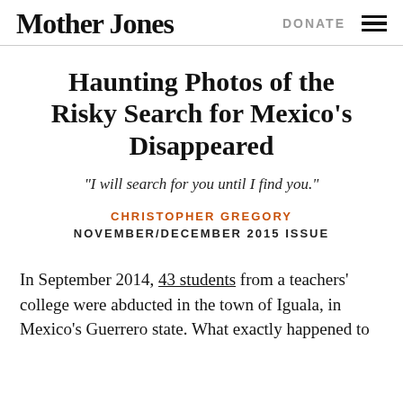Mother Jones   DONATE
Haunting Photos of the Risky Search for Mexico's Disappeared
“I will search for you until I find you.”
CHRISTOPHER GREGORY
NOVEMBER/DECEMBER 2015 ISSUE
In September 2014, 43 students from a teachers’ college were abducted in the town of Iguala, in Mexico’s Guerrero state. What exactly happened to